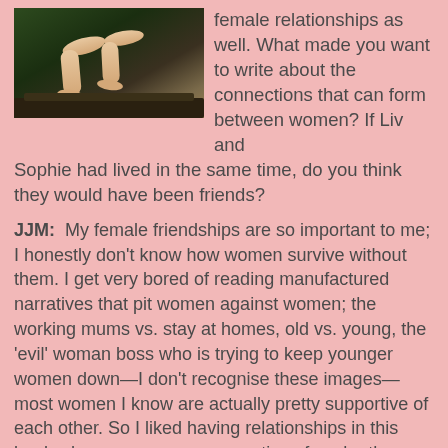[Figure (photo): Photo of woman's bare legs resting on what appears to be a dark metal surface or machinery, dark green/brown outdoor background]
female relationships as well. What made you want to write about the connections that can form between women? If Liv and Sophie had lived in the same time, do you think they would have been friends?
JJM:  My female friendships are so important to me; I honestly don't know how women survive without them. I get very bored of reading manufactured narratives that pit women against women; the working mums vs. stay at homes, old vs. young, the 'evil' woman boss who is trying to keep younger women down—I don't recognise these images—most women I know are actually pretty supportive of each other. So I liked having relationships in this book where women are supportive of each other, even if their relationships are often complex and changing. To me that reflects real life. And yes, I think that Sophie and Liv might have been friends—I think through her sister's grief, Sophie might have understood Liv's own. And both knew what it was like to utterly adore your husband.